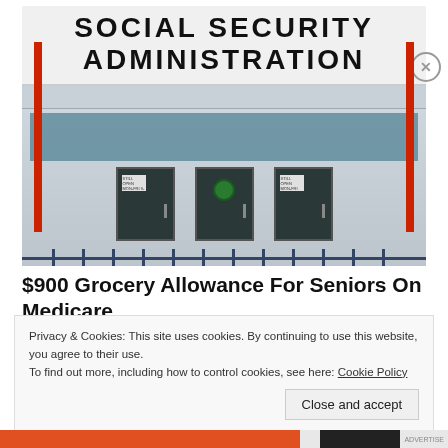[Figure (photo): Exterior photograph of a Social Security Administration office building. A large sign reading 'SOCIAL SECURITY ADMINISTRATION' spans the facade. The building entrance shows doors with railings, red poles on either side, and a concrete exterior.]
$900 Grocery Allowance For Seniors On Medicare
Privacy & Cookies: This site uses cookies. By continuing to use this website, you agree to their use.
To find out more, including how to control cookies, see here: Cookie Policy